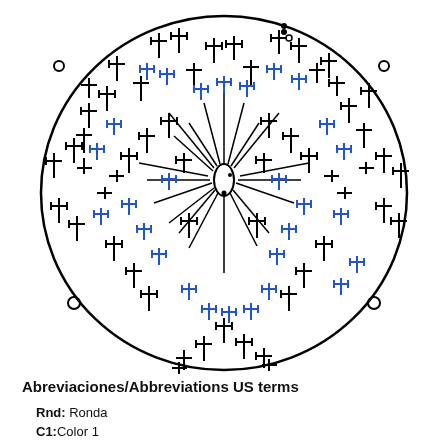[Figure (illustration): Circular crochet diagram/pattern chart showing stitch symbols arranged in a radial mandala pattern. The outer stitches are rendered in black and blue colors, with cross-like and T-shaped crochet stitch symbols radiating outward from a central oval/magic ring. The pattern uses standard crochet chart notation including single crochets (crosses), double crochets (T shapes with ticks), chain stitches, and magic ring at center.]
Abreviaciones/Abbreviations US terms
Rnd: Ronda
C1: Color 1